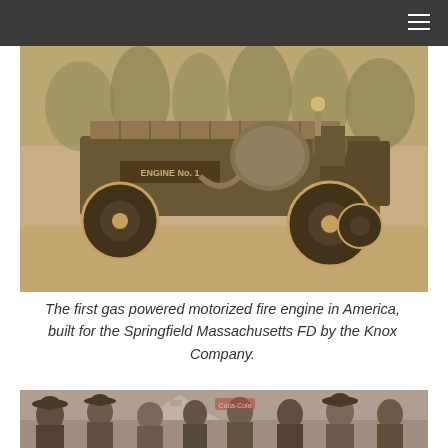[Figure (photo): Sepia-toned historical photograph of the first gas powered motorized fire engine in America, labeled ENGINE No. 1, built for the Springfield Massachusetts Fire Department by the Knox Company. The vehicle is photographed outdoors with trees in the background.]
The first gas powered motorized fire engine in America, built for the Springfield Massachusetts FD by the Knox Company.
[Figure (photo): Black and white historical photograph showing a group of men wearing hats, standing in a row outdoors with some equipment or carnival-like structure visible in the background including what appears to be a Coca-Cola sign.]